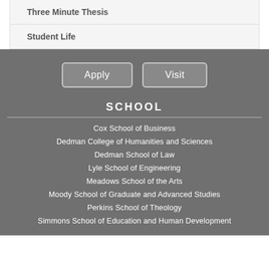Three Minute Thesis
Student Life
Apply
Visit
SCHOOL
Cox School of Business
Dedman College of Humanities and Sciences
Dedman School of Law
Lyle School of Engineering
Meadows School of the Arts
Moody School of Graduate and Advanced Studies
Perkins School of Theology
Simmons School of Education and Human Development